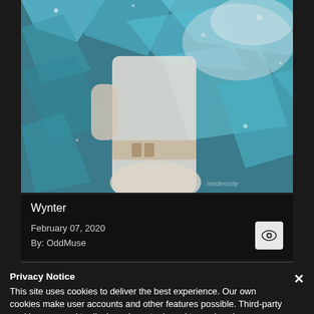[Figure (photo): A figure in white clothing/swimwear standing in front of a teal/blue crystal or glass-like background, partially cropped.]
Wynter
February 07, 2020
By: OddMuse
Privacy Notice
This site uses cookies to deliver the best experience. Our own cookies make user accounts and other features possible. Third-party cookies are used to display relevant ads and to analyze how Renderosity is used. By using our site, you acknowledge that you have read and understood our Terms of Service, including our Cookie Policy and our Privacy Policy.